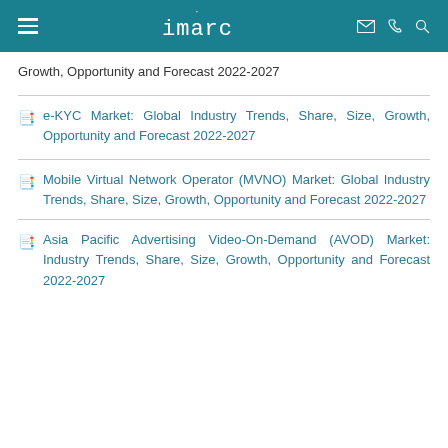imarc
Growth, Opportunity and Forecast 2022-2027
e-KYC Market: Global Industry Trends, Share, Size, Growth, Opportunity and Forecast 2022-2027
Mobile Virtual Network Operator (MVNO) Market: Global Industry Trends, Share, Size, Growth, Opportunity and Forecast 2022-2027
Asia Pacific Advertising Video-On-Demand (AVOD) Market: Industry Trends, Share, Size, Growth, Opportunity and Forecast 2022-2027